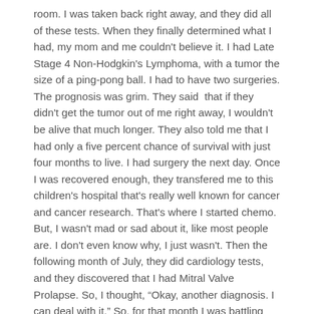room. I was taken back right away, and they did all of these tests. When they finally determined what I had, my mom and me couldn't believe it. I had Late Stage 4 Non-Hodgkin's Lymphoma, with a tumor the size of a ping-pong ball. I had to have two surgeries. The prognosis was grim. They said  that if they didn't get the tumor out of me right away, I wouldn't be alive that much longer. They also told me that I had only a five percent chance of survival with just four months to live. I had surgery the next day. Once I was recovered enough, they transfered me to this children's hospital that's really well known for cancer and cancer research. That's where I started chemo. But, I wasn't mad or sad about it, like most people are. I don't even know why, I just wasn't. Then the following month of July, they did cardiology tests, and they discovered that I had Mitral Valve Prolapse. So, I thought, “Okay, another diagnosis. I can deal with it.” So, for that month I was battling cancer with a heart condition. So, in August, they did a blood drawl, and the results